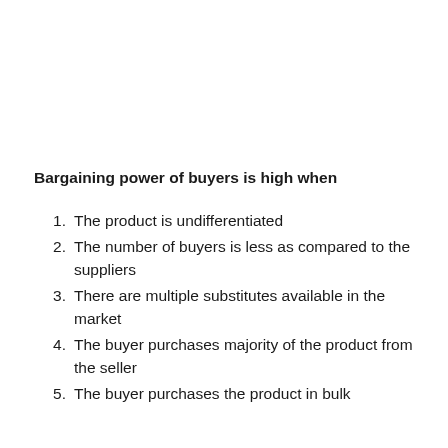Bargaining power of buyers is high when
The product is undifferentiated
The number of buyers is less as compared to the suppliers
There are multiple substitutes available in the market
The buyer purchases majority of the product from the seller
The buyer purchases the product in bulk